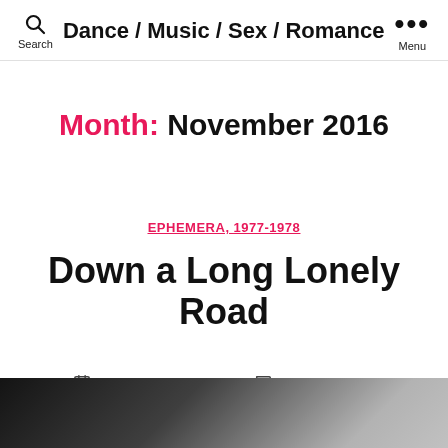Dance / Music / Sex / Romance
Month: November 2016
EPHEMERA, 1977-1978
Down a Long Lonely Road
November 30, 2016   No Comments
[Figure (photo): Black and white photograph partially visible at the bottom of the page]